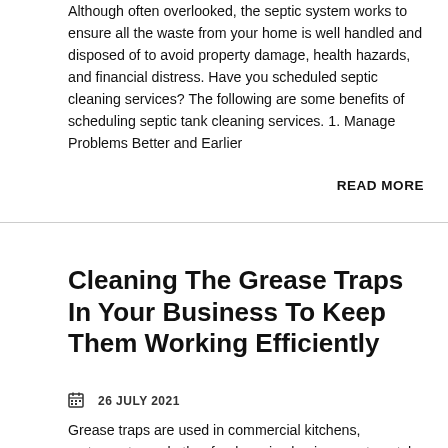Although often overlooked, the septic system works to ensure all the waste from your home is well handled and disposed of to avoid property damage, health hazards, and financial distress. Have you scheduled septic cleaning services? The following are some benefits of scheduling septic tank cleaning services. 1. Manage Problems Better and Earlier
READ MORE
Cleaning The Grease Traps In Your Business To Keep Them Working Efficiently
26 JULY 2021
Grease traps are used in commercial kitchens, restaurants, and other food service businesses to catch